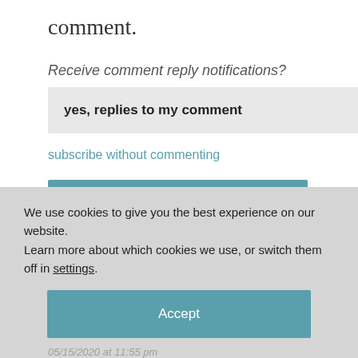comment.
Receive comment reply notifications?
yes, replies to my comment
subscribe without commenting
POST COMMENT
We use cookies to give you the best experience on our website.
Learn more about which cookies we use, or switch them off in settings.
Accept
05/15/2020 at 11:55 pm